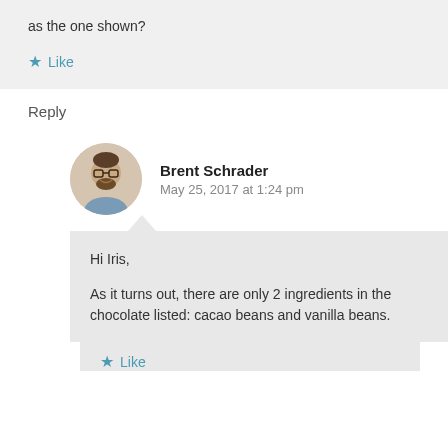as the one shown?
★ Like
Reply
[Figure (photo): Circular avatar photo of Brent Schrader, a man with glasses and a beard, smiling]
Brent Schrader
May 25, 2017 at 1:24 pm
Hi Iris,

As it turns out, there are only 2 ingredients in the chocolate listed: cacao beans and vanilla beans.
★ Like